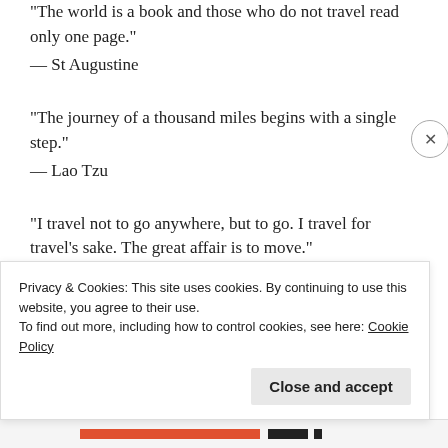“The world is a book and those who do not travel read only one page.”
— St Augustine
“The journey of a thousand miles begins with a single step.”
— Lao Tzu
“I travel not to go anywhere, but to go. I travel for travel’s sake. The great affair is to move.”
— Robert Louis Stevenson
Privacy & Cookies: This site uses cookies. By continuing to use this website, you agree to their use.
To find out more, including how to control cookies, see here: Cookie Policy